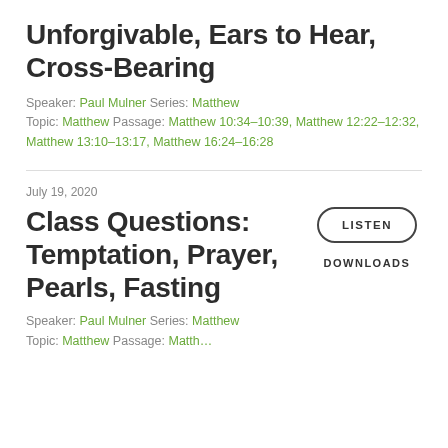Unforgivable, Ears to Hear, Cross-Bearing
Speaker: Paul Mulner Series: Matthew Topic: Matthew Passage: Matthew 10:34–10:39, Matthew 12:22–12:32, Matthew 13:10–13:17, Matthew 16:24–16:28
July 19, 2020
Class Questions: Temptation, Prayer, Pearls, Fasting
LISTEN
DOWNLOADS
Speaker: Paul Mulner Series: Matthew Topic: Matthew Passage: Matthew